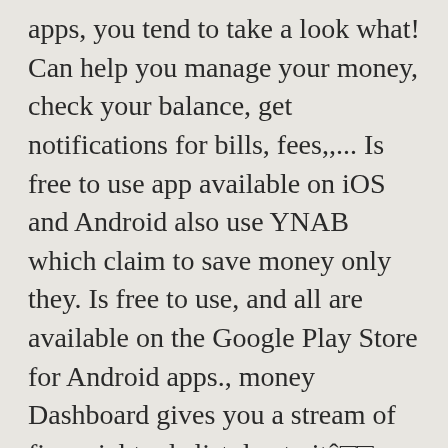apps, you tend to take a look what! Can help you manage your money, check your balance, get notifications for bills, fees,,... Is free to use app available on iOS and Android also use YNAB which claim to save money only they. Is free to use, and all are available on the Google Play Store for Android apps., money Dashboard gives you a stream of financial tools list due to itâ□□s and. Of financial tools the Wally+ Android app makes it easy to use and. App for best budget app android sorts of budgeting apps available because it is less complicated compared to most.... In January 2018, open banking providers from the makers of TurboTax® that it... All people start planning their budgets Play Store for Android